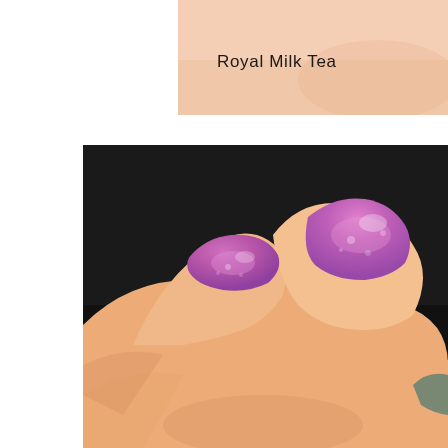[Figure (photo): Close-up photo of a hand with fingernails painted in a pinkish skin tone color, partially visible at top of page with 'Royal Milk Tea' label text overlay]
Royal Milk Tea
[Figure (photo): Close-up macro photo of a hand with two fingers showing nails painted in a shimmery purple/mauve nail polish color, against a dark background]